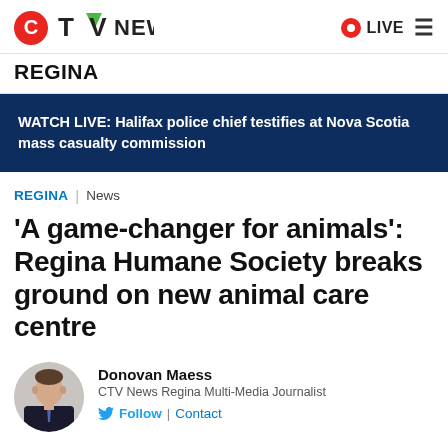CTV NEWS  LIVE
REGINA
WATCH LIVE: Halifax police chief testifies at Nova Scotia mass casualty commission
REGINA | News
'A game-changer for animals': Regina Humane Society breaks ground on new animal care centre
Donovan Maess
CTV News Regina Multi-Media Journalist
Follow | Contact